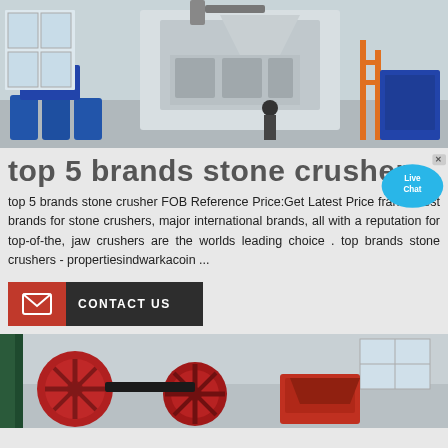[Figure (photo): Industrial stone crusher machinery in a factory setting with blue equipment and workers]
top 5 brands stone crusher
top 5 brands stone crusher FOB Reference Price:Get Latest Price france best brands for stone crushers, major international brands, all with a reputation for top-of-the, jaw crushers are the worlds leading choice . top brands stone crushers - propertiesindwarkacoin ...
[Figure (other): Contact Us button with email icon on red background and dark grey label]
[Figure (photo): Red and black stone crusher mechanical components including large flywheels and crusher body in an industrial warehouse]